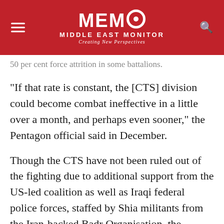[Figure (logo): MEMO Middle East Monitor logo with red background, hamburger menu icon on left, search icon on right, and tagline 'Creating New Perspectives']
50 per cent force attrition in some battalions.
"If that rate is constant, the [CTS] division could become combat ineffective in a little over a month, and perhaps even sooner," the Pentagon official said in December.
Though the CTS have not been ruled out of the fighting due to additional support from the US-led coalition as well as Iraqi federal police forces, staffed by Shia militants from the Iran-backed Badr Organisation, the fighting has been far from easy.
In the third month of fighting, Daesh claimed to have killed 1,520 Iraqi soldiers, showing that